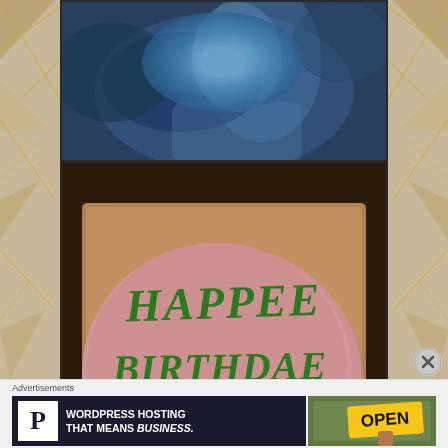[Figure (photo): Top photo: person viewed from above in blue/cool lighting, wearing blue-grey clothing]
[Figure (photo): Middle photo: pink birthday cake with green icing text reading HAPPEE BIRTHDAE HARRY (Harry Potter reference), held in a cardboard box]
[Figure (photo): Bottom photo: top of a person's head with curly/wavy brown hair surrounded by warm glowing orange/gold light]
Advertisements
[Figure (screenshot): Advertisement banner: Pressable WordPress hosting ad - white P logo on dark background with text WORDPRESS HOSTING THAT MEANS BUSINESS. alongside an OPEN sign photo]